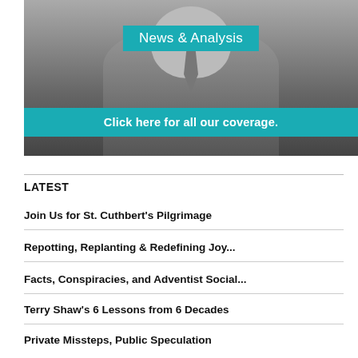[Figure (photo): Black and white photo of a man in a suit with teal overlay banners reading 'News & Analysis' and 'Click here for all our coverage.']
LATEST
Join Us for St. Cuthbert's Pilgrimage
Repotting, Replanting & Redefining Joy...
Facts, Conspiracies, and Adventist Social...
Terry Shaw's 6 Lessons from 6 Decades
Private Missteps, Public Speculation